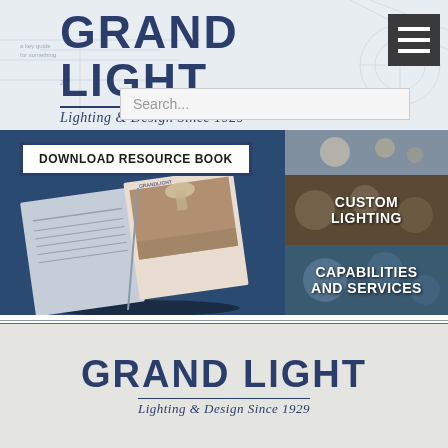[Figure (screenshot): Grand Light website screenshot showing logo, navigation menu icon, search bar, download resource book banner with book image, custom lighting panel, capabilities and services panel, and bottom logo on gray background]
GRAND LIGHT
Lighting & Design Since 1929
Search...
DOWNLOAD RESOURCE BOOK
CUSTOM LIGHTING
CAPABILITIES AND SERVICES
GRAND LIGHT
Lighting & Design Since 1929